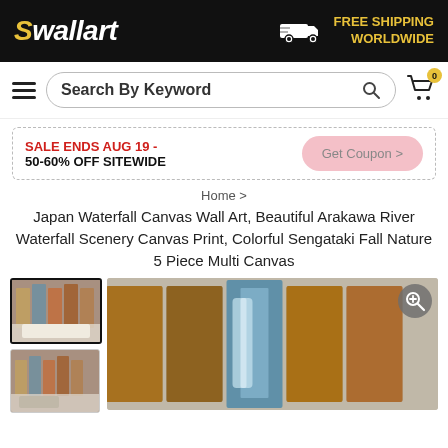Swallart — FREE SHIPPING WORLDWIDE
Search By Keyword
SALE ENDS AUG 19 - 50-60% OFF SITEWIDE   Get Coupon >
Home >
Japan Waterfall Canvas Wall Art, Beautiful Arakawa River Waterfall Scenery Canvas Print, Colorful Sengataki Fall Nature 5 Piece Multi Canvas
[Figure (photo): Two thumbnail images of a 5-piece waterfall canvas wall art set; first thumbnail selected with dark border showing canvas on bedroom wall, second showing canvas on living room wall.]
[Figure (photo): Main product image showing 5-piece multi canvas wall art of Japan Arakawa River waterfall scenery with colorful autumn foliage, displayed against grey background with zoom icon in top-right corner.]